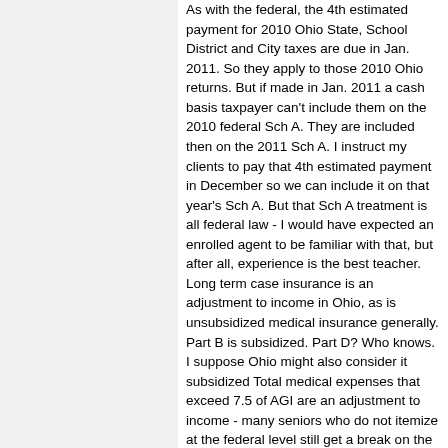As with the federal, the 4th estimated payment for 2010 Ohio State, School District and City taxes are due in Jan. 2011. So they apply to those 2010 Ohio returns. But if made in Jan. 2011 a cash basis taxpayer can't include them on the 2010 federal Sch A. They are included then on the 2011 Sch A. I instruct my clients to pay that 4th estimated payment in December so we can include it on that year's Sch A. But that Sch A treatment is all federal law - I would have expected an enrolled agent to be familiar with that, but after all, experience is the best teacher. Long term case insurance is an adjustment to income in Ohio, as is unsubsidized medical insurance generally. Part B is subsidized. Part D? Who knows. I suppose Ohio might also consider it subsidized Total medical expenses that exceed 7.5 of AGI are an adjustment to income - many seniors who do not itemize at the federal level still get a break on the Ohio return for these medical expenses, or at least for their Medicare Supplement premiums. Military pensions are now tax exempt. Why